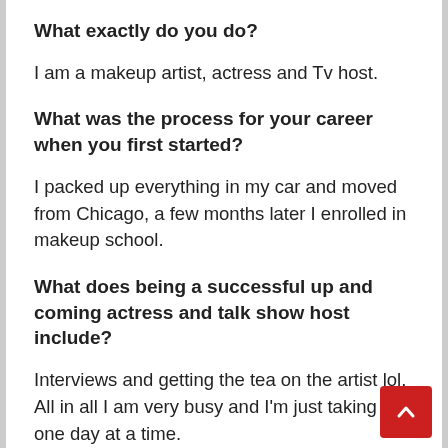What exactly do you do?
I am a makeup artist, actress and Tv host.
What was the process for your career when you first started?
I packed up everything in my car and moved from Chicago, a few months later I enrolled in makeup school.
What does being a successful up and coming actress and talk show host include?
Interviews and getting the tea on the artist lol. All in all I am very busy and I'm just taking it one day at a time.